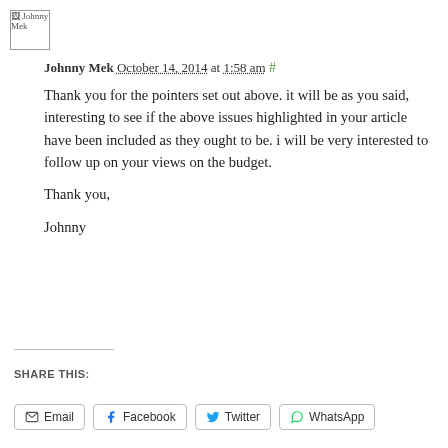[Figure (photo): Avatar image placeholder for Johnny Mek]
Johnny Mek October 14, 2014 at 1:58 am #
Thank you for the pointers set out above. it will be as you said, interesting to see if the above issues highlighted in your article have been included as they ought to be. i will be very interested to follow up on your views on the budget.

Thank you,

Johnny
SHARE THIS:
Email  Facebook  Twitter  WhatsApp